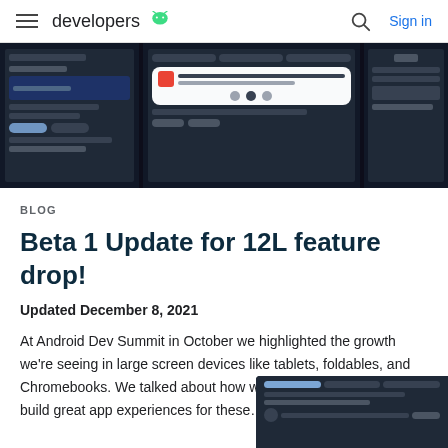developers (Android logo) — Sign in
[Figure (screenshot): Three Android tablet/phone screen mockups showing UI interfaces in dark mode]
BLOG
Beta 1 Update for 12L feature drop!
Updated December 8, 2021
At Android Dev Summit in October we highlighted the growth we're seeing in large screen devices like tablets, foldables, and Chromebooks. We talked about how we're making it easier to build great app experiences for these…
[Figure (screenshot): Partial Android tablet UI screenshot in dark mode shown at bottom right]